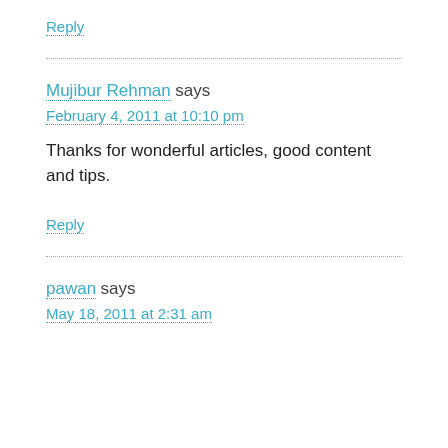Reply
Mujibur Rehman says
February 4, 2011 at 10:10 pm
Thanks for wonderful articles, good content and tips.
Reply
pawan says
May 18, 2011 at 2:31 am